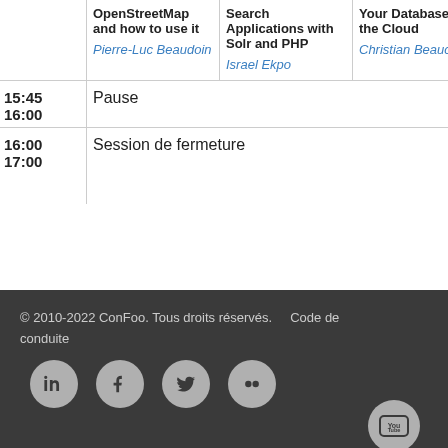| Time | Talk 1 | Talk 2 | Talk 3 | Talk 4 |
| --- | --- | --- | --- | --- |
|  | OpenStreetMap and how to use it
Pierre-Luc Beaudoin | Search Applications with Solr and PHP
Israel Ekpo | Your Database in the Cloud
Christian Beauclair | with YQL YUI
Jonathan LeBlanc |
| 15:45
16:00 | Pause |  |  |  |
| 16:00
17:00 | Session de fermeture |  |  |  |
© 2010-2022 ConFoo. Tous droits réservés.   Code de conduite